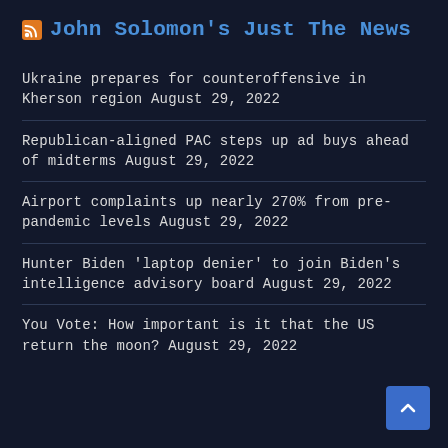John Solomon's Just The News
Ukraine prepares for counteroffensive in Kherson region August 29, 2022
Republican-aligned PAC steps up ad buys ahead of midterms August 29, 2022
Airport complaints up nearly 270% from pre-pandemic levels August 29, 2022
Hunter Biden 'laptop denier' to join Biden's intelligence advisory board August 29, 2022
You Vote: How important is it that the US return the moon? August 29, 2022